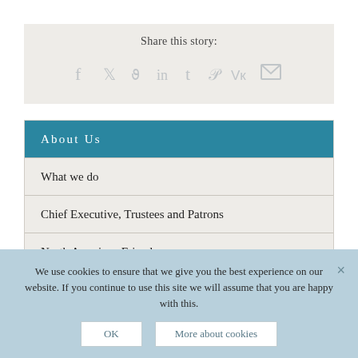Share this story:
[Figure (other): Social sharing icons: Facebook, Twitter, Reddit, LinkedIn, Tumblr, Pinterest, VK, Email]
About Us
What we do
Chief Executive, Trustees and Patrons
North American Friends
We use cookies to ensure that we give you the best experience on our website. If you continue to use this site we will assume that you are happy with this.
OK  More about cookies